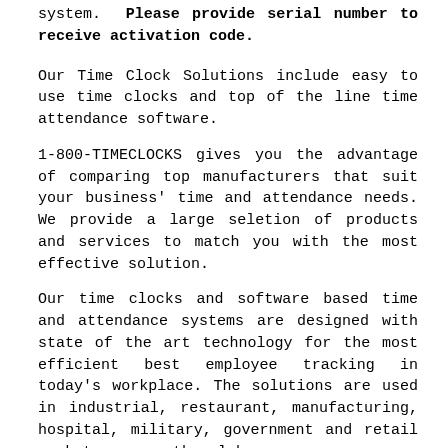system.  Please provide serial number to receive activation code.
Our Time Clock Solutions include easy to use time clocks and top of the line time attendance software.
1-800-TIMECLOCKS gives you the advantage of comparing top manufacturers that suit your business' time and attendance needs. We provide a large seletion of products and services to match you with the most effective solution.
Our time clocks and software based time and attendance systems are designed with state of the art technology for the most efficient best employee tracking in today's workplace. The solutions are used in industrial, restaurant, manufacturing, hospital, military, government and retail markets across the globe.
Please do not hesitate to contact us if you have any questions.
You can reach us at (800) 846-3256